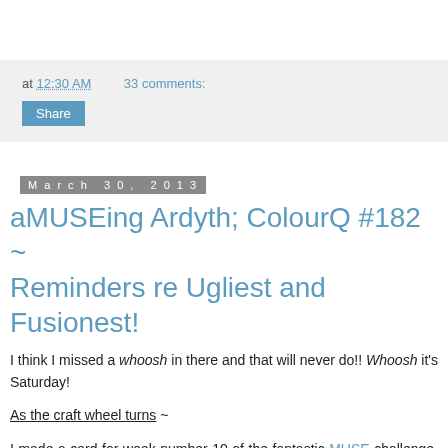at 12:30 AM   33 comments:   Share
March 30, 2013
aMUSEing Ardyth; ColourQ #182 ~ Reminders re Ugliest and Fusionest!
I think I missed a whoosh in there and that will never do!! Whoosh it's Saturday!
As the craft wheel turns ~
I made a card for week number 10 of the fantastic MUSE challenge, just in the nick of time.  I think I've only missed one while I was out of town and since this week the MUSE is a very good friend of mine, I had to play along!  Our MUSE is